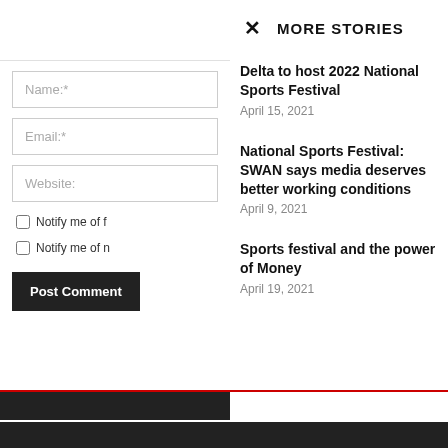MORE STORIES
Delta to host 2022 National Sports Festival
April 15, 2021
National Sports Festival: SWAN says media deserves better working conditions
April 9, 2021
Sports festival and the power of Money
April 19, 2021